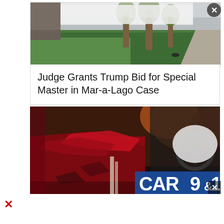[Figure (screenshot): Close button (X) circle top right of page]
[Figure (photo): Outdoor landscape photo showing green grass, palm trees, and a walkway - appears to be a golf course or resort]
Judge Grants Trump Bid for Special Master in Mar-a-Lago Case
[Figure (photo): News broadcast image showing a crashed red car with deployed airbag, with CAR 9&10 news logo overlay]
[Figure (other): Small red X close icon at bottom left]